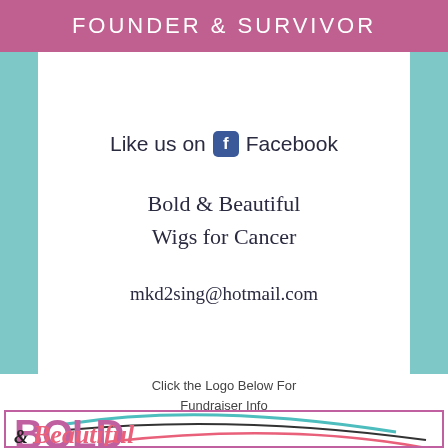FOUNDER & SURVIVOR
Like us on Facebook
Bold & Beautiful Wigs for Cancer
mkd2sing@hotmail.com
Click the Logo Below For Fundraiser Info
[Figure (logo): Bold & Beautiful Wigs for Cancer logo with purple BOLD text, teal and black swoosh curves, and pink cursive Beautiful text]